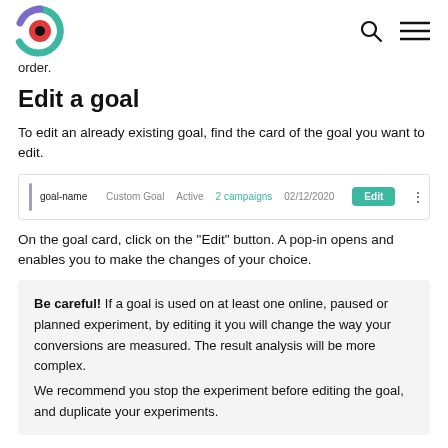Logo and navigation icons
order.
Edit a goal
To edit an already existing goal, find the card of the goal you want to edit.
[Figure (screenshot): Screenshot of a goal card row showing: goal-name, Custom Goal, Active, 2 campaigns, 02/12/2020, Edit button, and a three-dot menu icon]
On the goal card, click on the "Edit" button. A pop-in opens and enables you to make the changes of your choice.
Be careful! If a goal is used on at least one online, paused or planned experiment, by editing it you will change the way your conversions are measured. The result analysis will be more complex.
We recommend you stop the experiment before editing the goal, and duplicate your experiments.